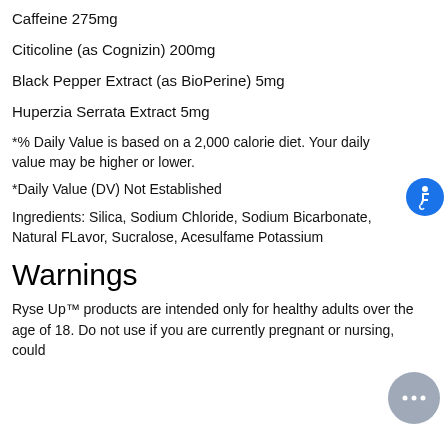Caffeine 275mg
Citicoline (as Cognizin) 200mg
Black Pepper Extract (as BioPerine) 5mg
Huperzia Serrata Extract 5mg
*% Daily Value is based on a 2,000 calorie diet. Your daily value may be higher or lower.
*Daily Value (DV) Not Established
Ingredients: Silica, Sodium Chloride, Sodium Bicarbonate, Natural FLavor, Sucralose, Acesulfame Potassium
Warnings
Ryse Up™ products are intended only for healthy adults over the age of 18. Do not use if you are currently pregnant or nursing, could